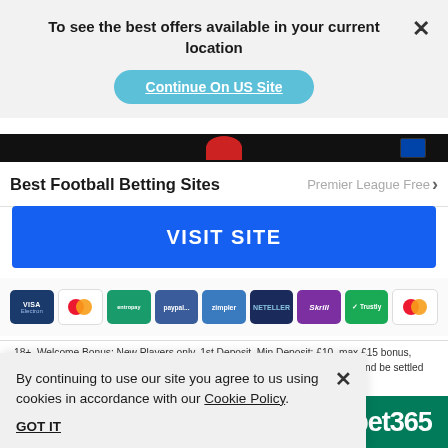To see the best offers available in your current location
Continue On US Site
Best Football Betting Sites
Premier League Free
VISIT SITE
[Figure (infographic): Payment method icons: Visa Electron, Mastercard, Entropay, PayPal, Zimpler, Neteller, Skrill, Trustly, Mastercard]
18+, Welcome Bonus: New Players only, 1st Deposit, Min Deposit: £10, max £15 bonus, valid for 14 days, bets must be placed at a min. odds of 1/1 (2.00) or greater and be settled within 14 days of placement. System bets no
By continuing to use our site you agree to us using cookies in accordance with our Cookie Policy.
GOT IT